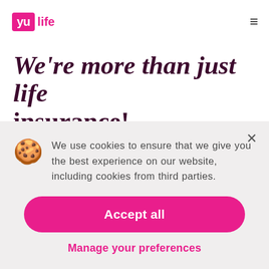yu life
We're more than just life insurance!
We use cookies to ensure that we give you the best experience on our website, including cookies from third parties.
Accept all
Manage your preferences